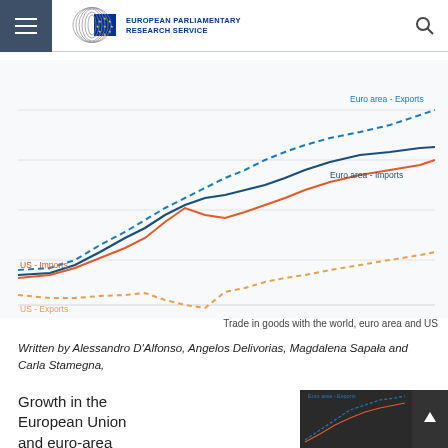European Parliamentary Research Service
[Figure (line-chart): Line chart showing trade in goods with the world for euro area exports, euro area imports, US imports, and US exports over time. Euro area exports (blue dashed) trend highest, followed by euro area imports (blue solid), then US imports (orange solid), with US exports (orange dashed) lowest.]
Trade in goods with the world, euro area and US
Written by Alessandro D'Alfonso, Angelos Delivorias, Magdalena Sapała and Carla Stamegna,
Growth in the European Union and euro-area